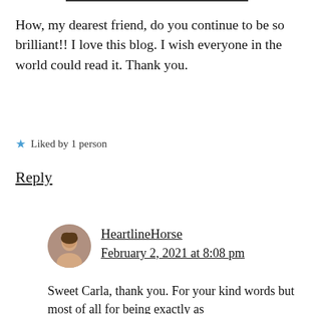How, my dearest friend, do you continue to be so brilliant!! I love this blog. I wish everyone in the world could read it. Thank you.
Liked by 1 person
Reply
HeartlineHorse
February 2, 2021 at 8:08 pm
Sweet Carla, thank you. For your kind words but most of all for being exactly as